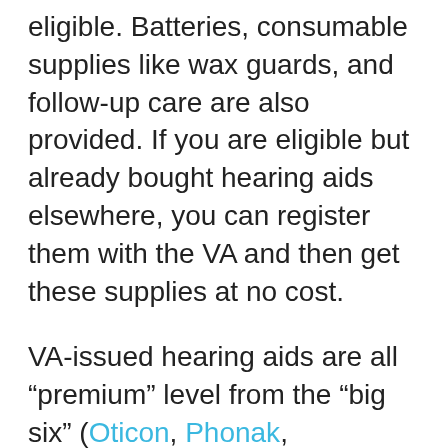eligible. Batteries, consumable supplies like wax guards, and follow-up care are also provided. If you are eligible but already bought hearing aids elsewhere, you can register them with the VA and then get these supplies at no cost.
VA-issued hearing aids are all “premium” level from the “big six” (Oticon, Phonak, ReSound, Signia, Starkey, and Widex) and their immediate subsidiaries (Unitron, Rexton, etc.). The VA contract also covers accessories like Bluetooth streamers, advanced remote microphones, and